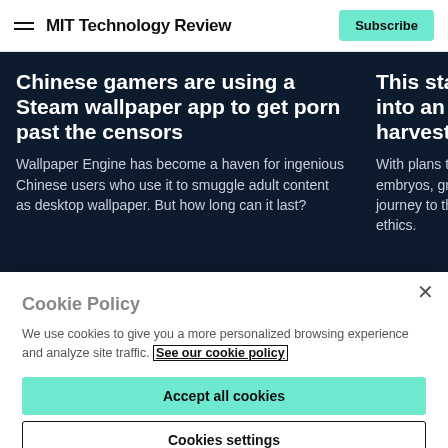MIT Technology Review | Subscribe
Chinese gamers are using a Steam wallpaper app to get porn past the censors
Wallpaper Engine has become a haven for ingenious Chinese users who use it to smuggle adult content as desktop wallpaper. But how long can it last?
This startup w... into an embry... harvesting
With plans to crea... embryos, grown i... journey to the hor... ethics.
Cookie Policy
We use cookies to give you a more personalized browsing experience and analyze site traffic. See our cookie policy
Accept all cookies
Cookies settings